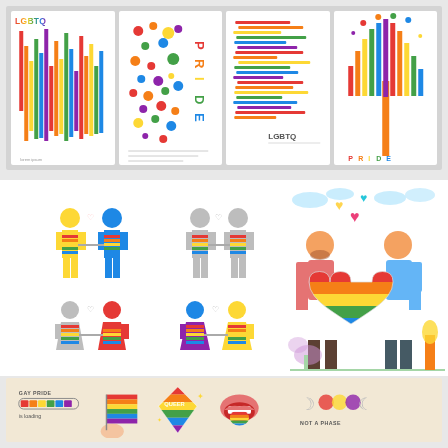[Figure (illustration): Four LGBTQ pride themed poster/card designs in a row. Card 1: white background with colorful vertical bar chart-like stripes and LGBTQ text. Card 2: white background with colorful polka dots and vertical PRIDE text. Card 3: white background with horizontal rainbow streaks and LGBTQ text. Card 4: white background with a tree made of rainbow vertical bars and PRIDE text.]
[Figure (illustration): LGBTQ pride icon illustrations: two male couple silhouettes with rainbow sash and heart, two female couple silhouettes with rainbow sash and heart, colorful male couple illustration holding large rainbow heart with decorative plants and trees.]
[Figure (illustration): Bottom row of LGBTQ pride stickers/icons: 'GAY PRIDE is loading' progress bar, rainbow flag hand, 'QUEER' diamond gem with rainbow, rainbow lips/mouth, 'NOT A PHASE' moon phase symbols.]